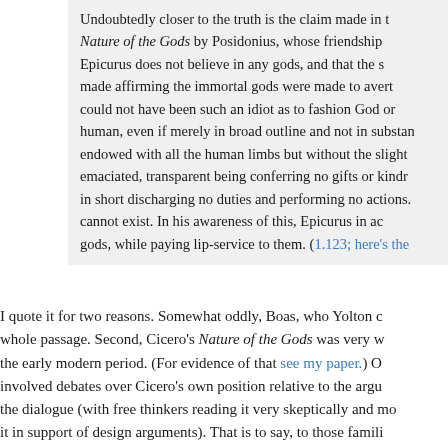Undoubtedly closer to the truth is the claim made in Nature of the Gods by Posidonius, whose friendship Epicurus does not believe in any gods, and that the s made affirming the immortal gods were made to avert could not have been such an idiot as to fashion God or human, even if merely in broad outline and not in substan endowed with all the human limbs but without the slight emaciated, transparent being conferring no gifts or kindr in short discharging no duties and performing no actions. cannot exist. In his awareness of this, Epicurus in ac gods, while paying lip-service to them. (1.123; here's the
I quote it for two reasons. Somewhat oddly, Boas, who Yolton c whole passage. Second, Cicero's Nature of the Gods was very w the early modern period. (For evidence of that see my paper.) O involved debates over Cicero's own position relative to the argu the dialogue (with free thinkers reading it very skeptically and mo it in support of design arguments). That is to say, to those famili its reception, the motto invites alertness to the significance of L theology, and to the possibility that Locke may be paying lip-se